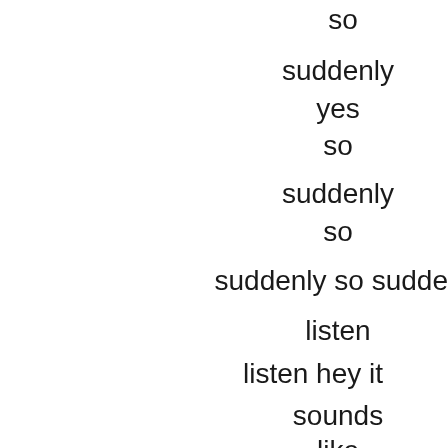so
suddenly
yes
so
suddenly
so
suddenly so sudde
listen
listen hey it
sounds
like